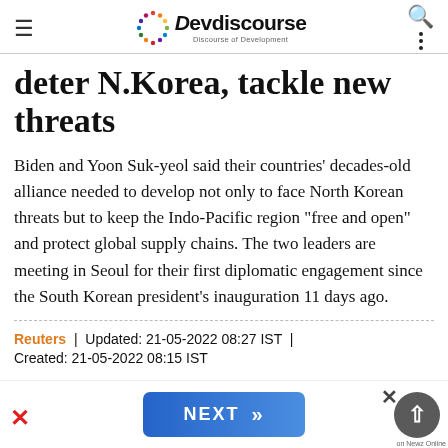Devdiscourse — Discourse of Development
deter N.Korea, tackle new threats
Biden and Yoon Suk-yeol said their countries' decades-old alliance needed to develop not only to face North Korean threats but to keep the Indo-Pacific region "free and open" and protect global supply chains. The two leaders are meeting in Seoul for their first diplomatic engagement since the South Korean president's inauguration 11 days ago.
Reuters | Updated: 21-05-2022 08:27 IST | Created: 21-05-2022 08:15 IST